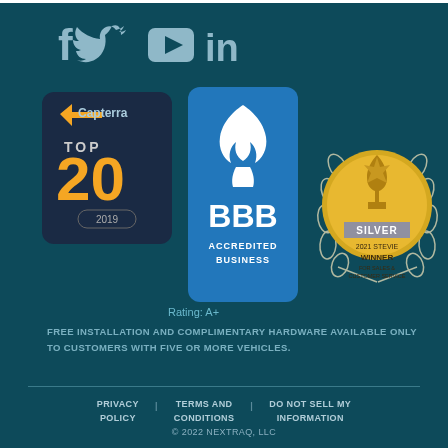[Figure (logo): Social media icons row: Facebook (f), Twitter bird, YouTube play button, LinkedIn (in) — all in light blue-gray on dark teal background]
[Figure (logo): Capterra Top 20 badge for 2019 — dark navy rounded rectangle with orange '20' text]
[Figure (logo): BBB Accredited Business badge with blue shield logo]
Rating: A+
[Figure (logo): Silver 2021 Stevie Winner for Sales & Customer Service award badge with gold medallion and laurel wreath]
FREE INSTALLATION AND COMPLIMENTARY HARDWARE AVAILABLE ONLY TO CUSTOMERS WITH FIVE OR MORE VEHICLES.
PRIVACY POLICY | TERMS AND CONDITIONS | DO NOT SELL MY INFORMATION
© 2022 NEXTRAQ, LLC